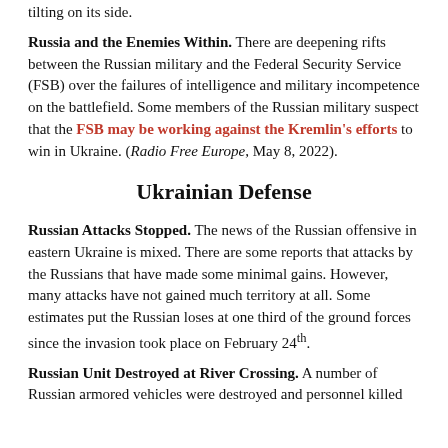tilting on its side. Russia and the Enemies Within. There are deepening rifts between the Russian military and the Federal Security Service (FSB) over the failures of intelligence and military incompetence on the battlefield. Some members of the Russian military suspect that the FSB may be working against the Kremlin's efforts to win in Ukraine. (Radio Free Europe, May 8, 2022).
Ukrainian Defense
Russian Attacks Stopped. The news of the Russian offensive in eastern Ukraine is mixed. There are some reports that attacks by the Russians that have made some minimal gains. However, many attacks have not gained much territory at all. Some estimates put the Russian loses at one third of the ground forces since the invasion took place on February 24th.
Russian Unit Destroyed at River Crossing. A number of Russian armored vehicles were destroyed and personnel killed